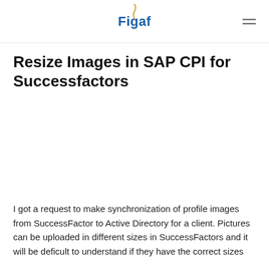Figaf
Resize Images in SAP CPI for Successfactors
I got a request to make synchronization of profile images from SuccessFactor to Active Directory for a client. Pictures can be uploaded in different sizes in SuccessFactors and it will be deficult to understand if they have the correct sizes